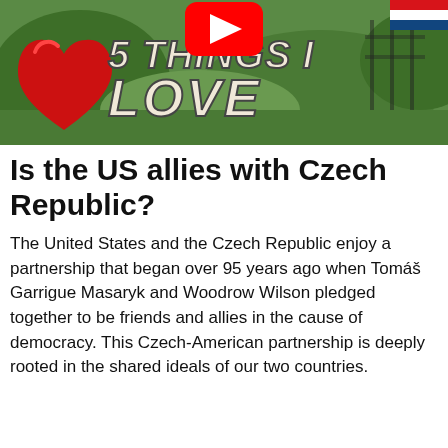[Figure (screenshot): YouTube video thumbnail showing '5 THINGS I LOVE' text over a red heart graphic with a green outdoor background and YouTube play button logo]
Is the US allies with Czech Republic?
The United States and the Czech Republic enjoy a partnership that began over 95 years ago when Tomáš Garrigue Masaryk and Woodrow Wilson pledged together to be friends and allies in the cause of democracy. This Czech-American partnership is deeply rooted in the shared ideals of our two countries.